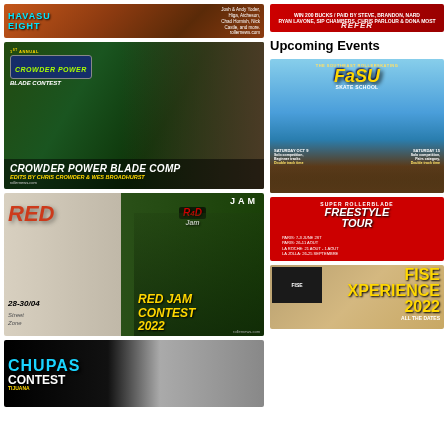[Figure (photo): Havasu Eight event promotional banner with orange/brown background, skating imagery, and text listing participants]
[Figure (photo): Crowder Power Blade Contest promotional image showing skater in forest setting with logo and title: CROWDER POWER BLADE COMP, EDITS BY CHRIS CROWDER & WES BROADHURST, rollernews.com]
[Figure (photo): Red Jam Contest 2022 promotional image, dates 28-30/04, Street Zone, rollernews.com]
[Figure (photo): Chupas Contest Tijuana promotional banner with blue text on dark background]
[Figure (photo): Red promotional banner on right side top]
Upcoming Events
[Figure (illustration): FaSU event poster with colorful illustrated characters, mountains, and gaming-style artwork]
[Figure (photo): Freestyle Tour red promotional poster with dates: PARIS: 7-3 JUNE 2ST, PARIS: 26-11 AOUT, LA ROCHE: 21 AOUT - 1 AOUT, LA JOLLA: 26-25 SEPTEMBRE]
[Figure (photo): FISE Xperience 2022 All The Dates promotional poster with golden/tan background]